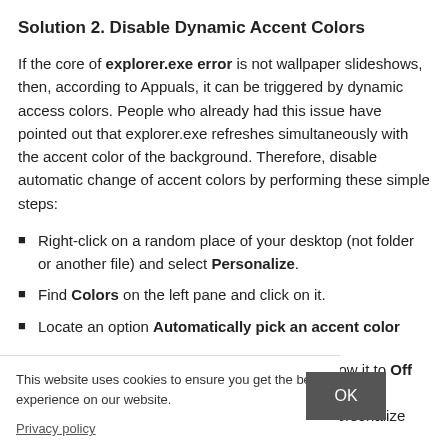Solution 2. Disable Dynamic Accent Colors
If the core of explorer.exe error is not wallpaper slideshows, then, according to Appuals, it can be triggered by dynamic access colors. People who already had this issue have pointed out that explorer.exe refreshes simultaneously with the accent color of the background. Therefore, disable automatic change of accent colors by performing these simple steps:
Right-click on a random place of your desktop (not folder or another file) and select Personalize.
Find Colors on the left pane and click on it.
Locate an option Automatically pick an accent color
e below it to Off
he Personalize
This website uses cookies to ensure you get the best experience on our website.
Privacy policy
OK